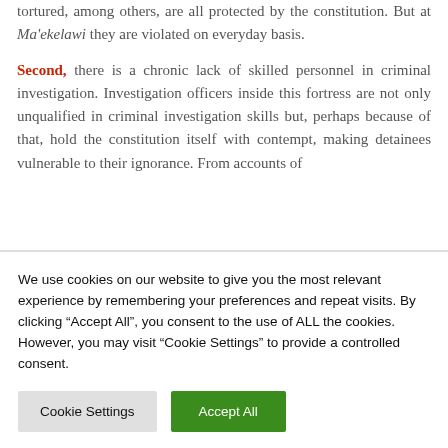tortured, among others, are all protected by the constitution. But at Ma'ekelawi they are violated on everyday basis.
Second, there is a chronic lack of skilled personnel in criminal investigation. Investigation officers inside this fortress are not only unqualified in criminal investigation skills but, perhaps because of that, hold the constitution itself with contempt, making detainees vulnerable to their ignorance. From accounts of
We use cookies on our website to give you the most relevant experience by remembering your preferences and repeat visits. By clicking "Accept All", you consent to the use of ALL the cookies. However, you may visit "Cookie Settings" to provide a controlled consent.